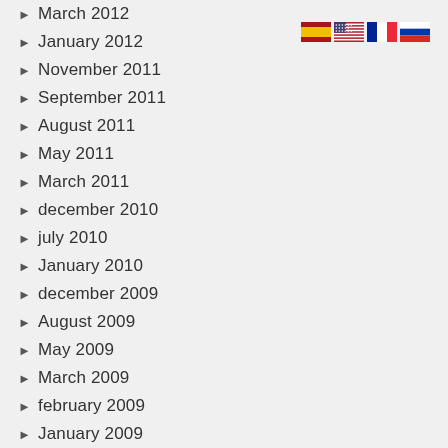March 2012
January 2012
November 2011
September 2011
August 2011
May 2011
March 2011
december 2010
july 2010
January 2010
december 2009
August 2009
May 2009
March 2009
february 2009
January 2009
[Figure (illustration): Four country flags: Spain, USA, France, Russia]